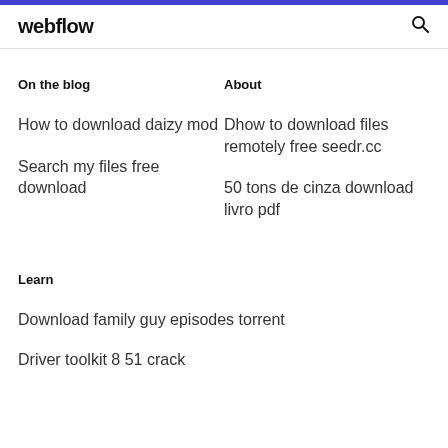webflow
On the blog
About
How to download daizy mod
Dhow to download files remotely free seedr.cc
Search my files free download
50 tons de cinza download livro pdf
Learn
Download family guy episodes torrent
Driver toolkit 8 51 crack